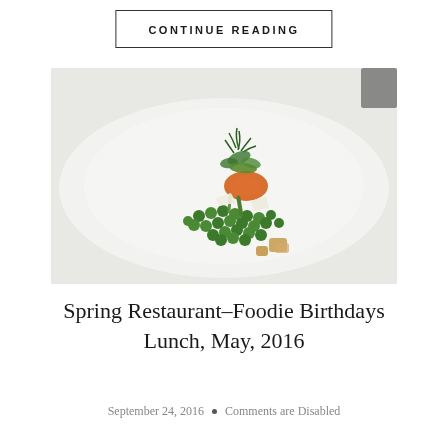CONTINUE READING
[Figure (photo): A restaurant dish on a white plate featuring green peas, microgreens, sliced carrots, shaved parmesan, asparagus, and croutons artfully arranged in the center of a large white plate.]
Spring Restaurant–Foodie Birthdays Lunch, May, 2016
September 24, 2016 • Comments are Disabled